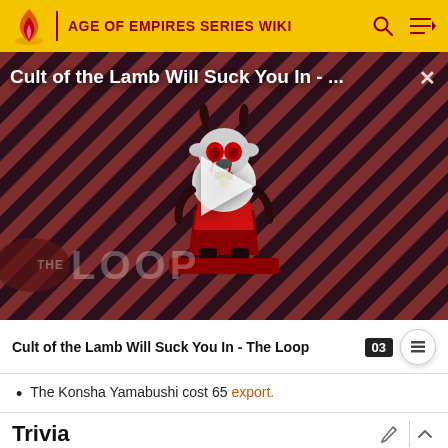AGE OF EMPIRES SERIES WIKI
[Figure (screenshot): Video thumbnail for 'Cult of the Lamb Will Suck You In - The Loop' showing a cartoon lamb character on a red striped background with a play button overlay and THE LOOP watermark]
Cult of the Lamb Will Suck You In - The Loop
The Konsha Yamabushi cost 65 export.
Trivia